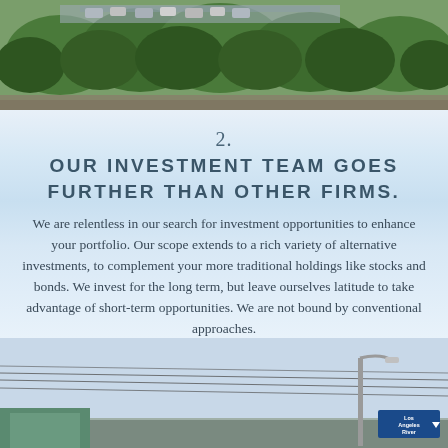[Figure (photo): Aerial/hillside photograph showing trees and parked cars on a slope, top strip of page]
2.
OUR INVESTMENT TEAM GOES FURTHER THAN OTHER FIRMS.
We are relentless in our search for investment opportunities to enhance your portfolio. Our scope extends to a rich variety of alternative investments, to complement your more traditional holdings like stocks and bonds. We invest for the long term, but leave ourselves latitude to take advantage of short-term opportunities. We are not bound by conventional approaches.
[Figure (illustration): A terracotta/salmon colored downward chevron arrow on sky background]
[Figure (photo): Urban street photograph showing power lines, a street lamp, and a Los Angeles River sign, bottom strip of page]